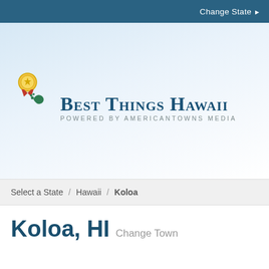Change State ▶
[Figure (logo): Best Things Hawaii logo — ribbon/medal icon with Hawaii island silhouette, text 'Best Things Hawaii' in dark teal serif small-caps, subtitle 'Powered by AmericanTowns Media' in grey spaced caps]
Select a State  /  Hawaii  /  Koloa
Koloa, HI  Change Town